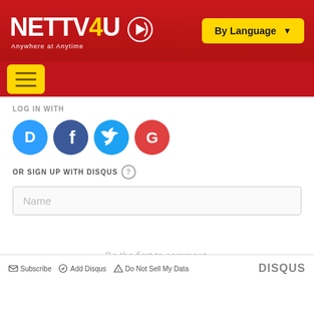[Figure (logo): NETTV4U logo with tagline 'Anywhere at Anytime' on red background, with 'By Language' dropdown button]
[Figure (other): Hamburger menu button (yellow) on red bar]
LOG IN WITH
[Figure (other): Social login icons: Disqus (blue), Facebook (dark blue), Twitter (light blue), Google (red)]
OR SIGN UP WITH DISQUS ?
Name
Be the first to comment.
✉ Subscribe  🔔 Add Disqus  ⚠ Do Not Sell My Data  DISQUS